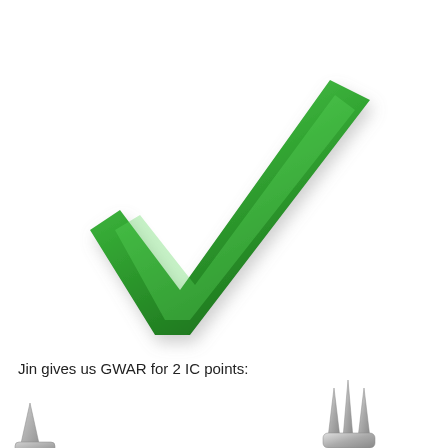[Figure (illustration): Large green checkmark / tick mark icon with gradient shading and drop shadow, centered in the upper two-thirds of the page]
Jin gives us GWAR for 2 IC points:
[Figure (illustration): Small metallic spiked crown or helmet icon at the bottom right, partially cropped]